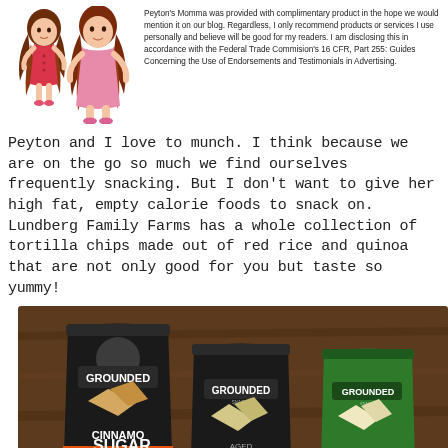[Figure (illustration): Two cartoon girl illustrations with brown curly hair wearing pink/red outfits]
Peyton's Momma was provided with complimentary product in the hope we would mention it on our blog. Regardless, I only recommend products or services I use personally and believe will be good for my readers. I am disclosing this in accordance with the Federal Trade Commision's 16 CFR, Part 255: Guides Concerning the Use of Endorsements and Testimonials in Advertising.
Peyton and I love to munch. I think because we are on the go so much we find ourselves frequently snacking. But I don't want to give her high fat, empty calorie foods to snack on. Lundberg Family Farms has a whole collection of tortilla chips made out of red rice and quinoa that are not only good for you but taste so yummy!
[Figure (photo): Photo of three bags of Grounded Snacks organic tortilla chips on a wooden floor: Cinnamon Sugar Red Rice & Quinoa, Aged White Cheddar, and a third green-bag flavor (French Onion), all showing the Grounded Snacks brand logo]